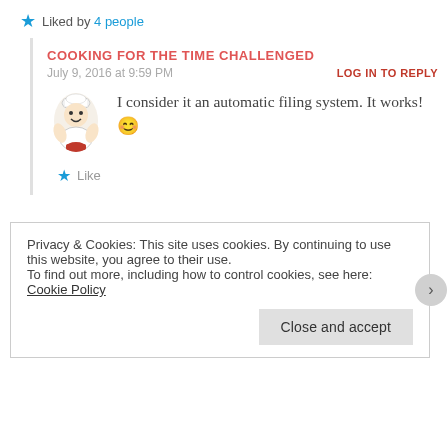Liked by 4 people
COOKING FOR THE TIME CHALLENGED
July 9, 2016 at 9:59 PM
LOG IN TO REPLY
I consider it an automatic filing system. It works! 😊
Like
ANURADHA MUKHERJEE
August 11, 2016 at 10:39 AM
Privacy & Cookies: This site uses cookies. By continuing to use this website, you agree to their use. To find out more, including how to control cookies, see here: Cookie Policy
Close and accept